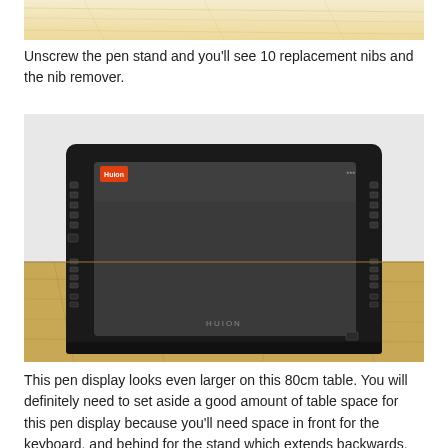[Figure (photo): Top portion of a photo showing a wooden surface with light warm-toned wood grain texture.]
Unscrew the pen stand and you'll see 10 replacement nibs and the nib remover.
[Figure (photo): A large black pen display tablet (Huion brand) sitting on a light wooden table against a white wall. The tablet has buttons on the left and right sides, a small orange label in the top-left corner, and the Huion logo at the bottom center.]
This pen display looks even larger on this 80cm table. You will definitely need to set aside a good amount of table space for this pen display because you'll need space in front for the keyboard, and behind for the stand which extends backwards.